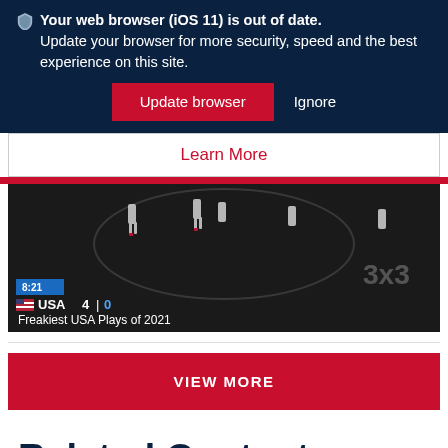🛡 Your web browser (iOS 11) is out of date. Update your browser for more security, speed and the best experience on this site.
Update browser | Ignore
Learn More
[Figure (screenshot): Basketball court video thumbnail showing aerial view of players, scoreboard showing 8:21, USA 4 0, titled 'Freakiest USA Plays of 2021']
VIEW MORE
Related Content